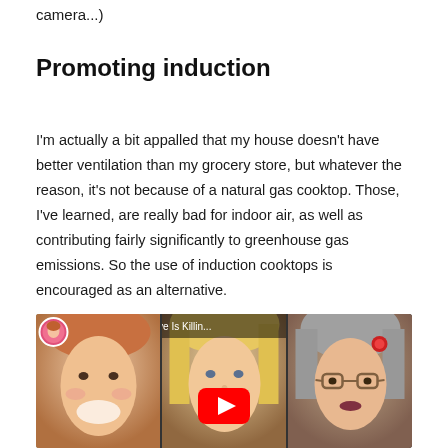camera...)
Promoting induction
I'm actually a bit appalled that my house doesn't have better ventilation than my grocery store, but whatever the reason, it's not because of a natural gas cooktop. Those, I've learned, are really bad for indoor air, as well as contributing fairly significantly to greenhouse gas emissions. So the use of induction cooktops is encouraged as an alternative.
[Figure (screenshot): YouTube video thumbnail showing three women side by side with title overlay 'Here's Why Your Gas Stove Is Killin...' and YouTube play button visible in the middle panel]